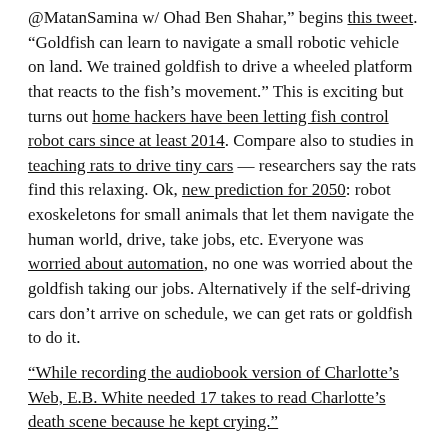@MatanSamina w/ Ohad Ben Shahar," begins this tweet. "Goldfish can learn to navigate a small robotic vehicle on land. We trained goldfish to drive a wheeled platform that reacts to the fish's movement." This is exciting but turns out home hackers have been letting fish control robot cars since at least 2014. Compare also to studies in teaching rats to drive tiny cars — researchers say the rats find this relaxing. Ok, new prediction for 2050: robot exoskeletons for small animals that let them navigate the human world, drive, take jobs, etc. Everyone was worried about automation, no one was worried about the goldfish taking our jobs. Alternatively if the self-driving cars don't arrive on schedule, we can get rats or goldfish to do it.
"While recording the audiobook version of Charlotte's Web, E.B. White needed 17 takes to read Charlotte's death scene because he kept crying."
Magawa, the landmine-sniffing hero rat, dies aged eight. Rest in peace hero 😢🥇🐀